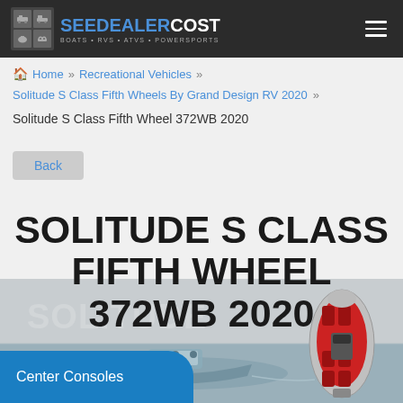SEE DEALER COST — BOATS • RVS • ATVS • POWERSPORTS
🏠 Home » Recreational Vehicles »
Solitude S Class Fifth Wheels By Grand Design RV 2020 »
Solitude S Class Fifth Wheel 372WB 2020
Back
SOLITUDE S CLASS FIFTH WHEEL 372WB 2020
[Figure (screenshot): Hero image of a boat on water with a red/black boat top-down view overlay on the right, and a teal 'Center Consoles' banner in the bottom left]